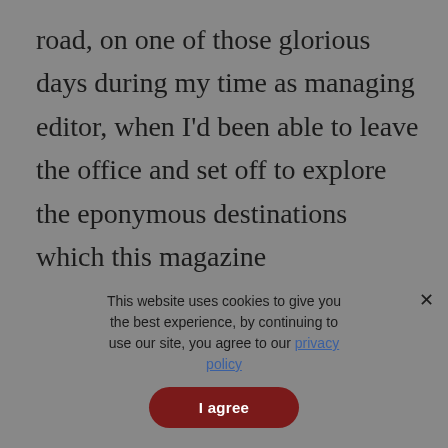road, on one of those glorious days during my time as managing editor, when I'd been able to leave the office and set off to explore the eponymous destinations which this magazine celebrates.I'd just whizzed past a familiar road sign.  But not one familiar from this place.  Or this time.  This was
This website uses cookies to give you the best experience, by continuing to use our site, you agree to our privacy policy
I agree